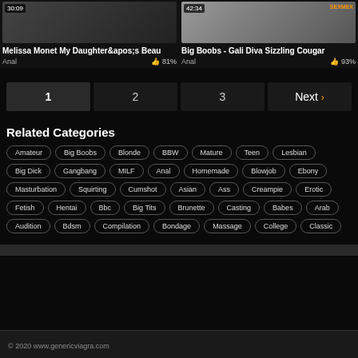[Figure (screenshot): Video thumbnail left - dark skin tone, duration 30:09]
Melissa Monet My Daughter&apos;s Beau
Anal  👍 81%
[Figure (screenshot): Video thumbnail right - red outfit, duration 42:34]
Big Boobs - Gali Diva Sizzling Cougar
Anal  👍 93%
1
2
3
Next ›
Related Categories
Amateur
Big Boobs
Blonde
BBW
Mature
Teen
Lesbian
Big Dick
Gangbang
MILF
Anal
Homemade
Blowjob
Ebony
Masturbation
Squirting
Cumshot
Asian
Ass
Creampie
Erotic
Fetish
Hentai
Bbc
Big Tits
Brunette
Casting
Babes
Arab
Audition
Bdsm
Compilation
Bondage
Massage
College
Classic
© 2020 www.genericviagra.com